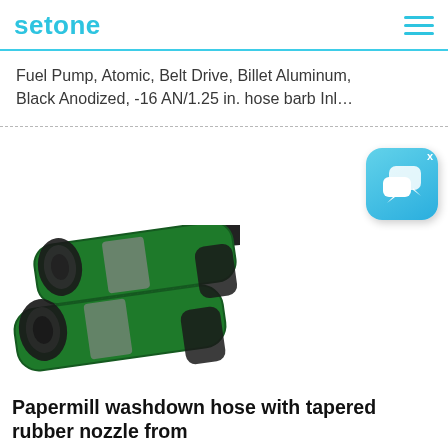setone
Fuel Pump, Atomic, Belt Drive, Billet Aluminum, Black Anodized, -16 AN/1.25 in. hose barb Inl…
[Figure (illustration): Two green and black rubber industrial washdown hoses shown at an angle, overlapping each other.]
[Figure (illustration): Chat/messaging app icon — blue rounded rectangle with two overlapping speech bubble icons in white.]
Papermill washdown hose with tapered rubber nozzle from
Unisource also offers two traditional canvas covered washdown hoses. Our Series 2660 is…